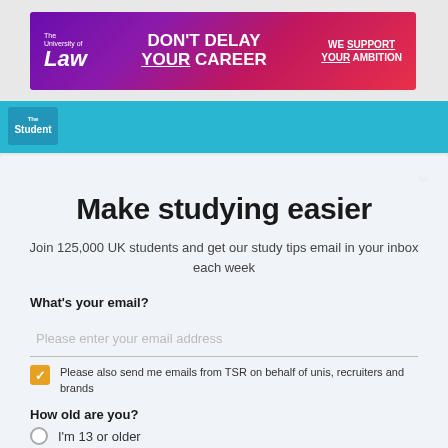[Figure (screenshot): University of Law banner advertisement: 'DON'T DELAY YOUR CAREER – WE SUPPORT YOUR AMBITION' on purple/red gradient background]
[Figure (screenshot): Website navigation bar in teal/cyan color with The Student Room logo and nav icons]
Make studying easier
Join 125,000 UK students and get our study tips email in your inbox each week
What's your email?
Please enter your email address
Please also send me emails from TSR on behalf of unis, recruiters and brands
How old are you?
I'm 13 or older
I'm under 13